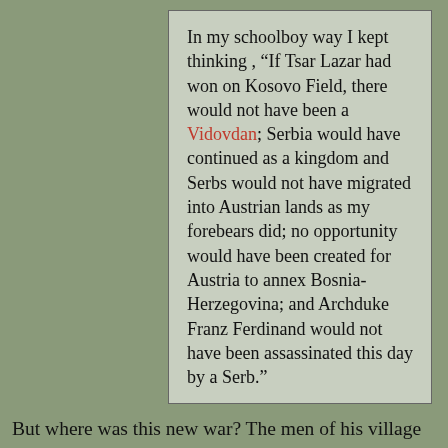In my schoolboy way I kept thinking , "If Tsar Lazar had won on Kosovo Field, there would not have been a Vidovdan; Serbia would have continued as a kingdom and Serbs would not have migrated into Austrian lands as my forebears did; no opportunity would have been created for Austria to annex Bosnia-Herzegovina; and Archduke Franz Ferdinand would not have been assassinated this day by a Serb."
But where was this new war? The men of his village were mobilized into the Austrian army, but members of his family were too old or too young to have to go.
The appearance of a plane in the sky did not alter what seemed to be a rather strange war with nothing happening since the declaration of war over ten